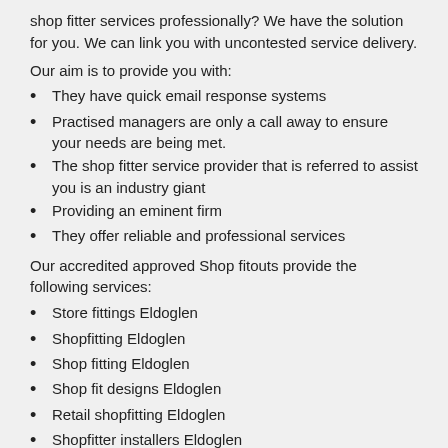shop fitter services professionally? We have the solution for you. We can link you with uncontested service delivery.
Our aim is to provide you with:
They have quick email response systems
Practised managers are only a call away to ensure your needs are being met.
The shop fitter service provider that is referred to assist you is an industry giant
Providing an eminent firm
They offer reliable and professional services
Our accredited approved Shop fitouts provide the following services:
Store fittings Eldoglen
Shopfitting Eldoglen
Shop fitting Eldoglen
Shop fit designs Eldoglen
Retail shopfitting Eldoglen
Shopfitter installers Eldoglen
Shopfitting companies suppliers supply Eldoglen
Shopfitting conractors Eldoglen
Shop fitter Eldoglen
Shop fitouts Eldoglen
Shop fitouts Eldoglen
Shopfitter repairs Eldoglen
Shopfitter installations Eldoglen